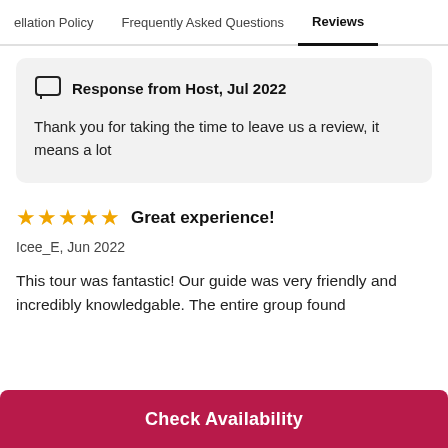ellation Policy   Frequently Asked Questions   Reviews
Response from Host, Jul 2022
Thank you for taking the time to leave us a review, it means a lot
★★★★★ Great experience!
Icee_E, Jun 2022
This tour was fantastic! Our guide was very friendly and incredibly knowledgable. The entire group found
Check Availability